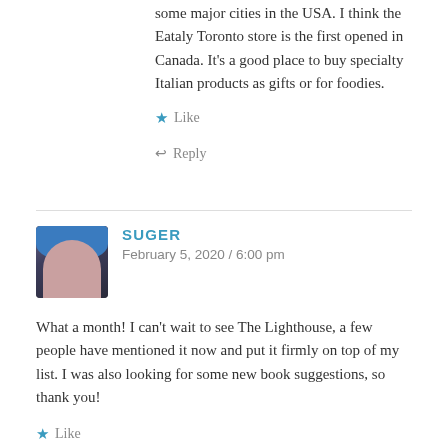some major cities in the USA. I think the Eataly Toronto store is the first opened in Canada. It's a good place to buy specialty Italian products as gifts or for foodies.
★ Like
↩ Reply
SUGER
February 5, 2020 / 6:00 pm
What a month! I can't wait to see The Lighthouse, a few people have mentioned it now and put it firmly on top of my list. I was also looking for some new book suggestions, so thank you!
★ Like